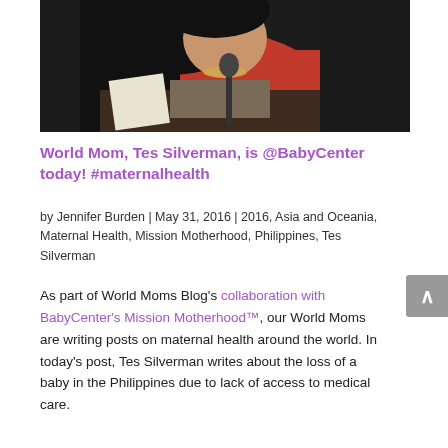[Figure (photo): A woman in a pink/red top with dark hair and a necklace, seated at a dark wooden desk with documents, in a dark background setting.]
World Mom, Tes Silverman, is @BabyCenter today! #maternalhealth
by Jennifer Burden | May 31, 2016 | 2016, Asia and Oceania, Maternal Health, Mission Motherhood, Philippines, Tes Silverman
As part of World Moms Blog's collaboration with BabyCenter's Mission Motherhood™, our World Moms are writing posts on maternal health around the world. In today's post, Tes Silverman writes about the loss of a baby in the Philippines due to lack of access to medical care.